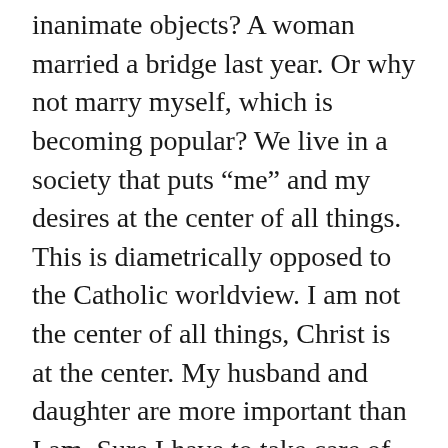inanimate objects? A woman married a bridge last year. Or why not marry myself, which is becoming popular? We live in a society that puts “me” and my desires at the center of all things. This is diametrically opposed to the Catholic worldview. I am not the center of all things, Christ is at the center. My husband and daughter are more important than I am. Sure I have to take care of myself, but my wants and desires are not primary. This is a major struggle for me in my sinful nature.